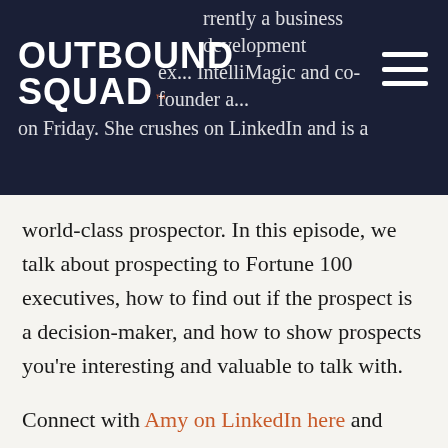currently a business development ex... IntelliMagic and co-founder a... on Friday. She crushes on LinkedIn and is a
[Figure (logo): Outbound Squad logo in white text with TM superscript in orange, on dark navy background]
world-class prospector. In this episode, we talk about prospecting to Fortune 100 executives, how to find out if the prospect is a decision-maker, and how to show prospects you’re interesting and valuable to talk with.
Connect with Amy on LinkedIn here and check out 5 on Friday here.